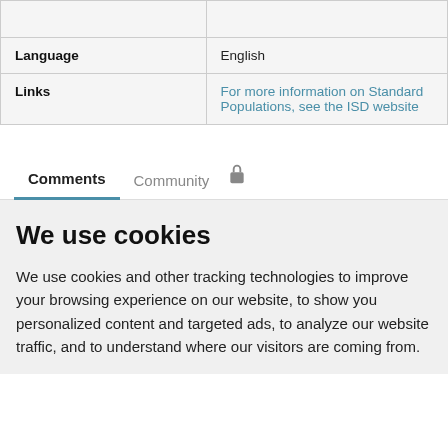| Language | English |
| Links | For more information on Standard Populations, see the ISD website |
Comments   Community   🔒
We use cookies
We use cookies and other tracking technologies to improve your browsing experience on our website, to show you personalized content and targeted ads, to analyze our website traffic, and to understand where our visitors are coming from.